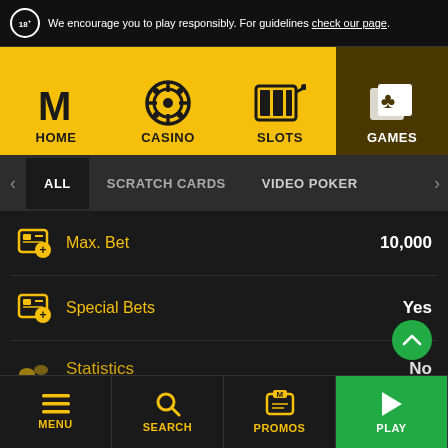18+ We encourage you to play responsibly. For guidelines check our page.
[Figure (screenshot): Navigation bar with HOME, CASINO, SLOTS, GAMES tabs on yellow background. GAMES tab is active with dark brown background.]
[Figure (screenshot): Sub-navigation bar with ALL (active), SCRATCH CARDS, VIDEO POKER options]
Max. Bet   10,000
Special Bets   Yes
Statistics   No
[Figure (screenshot): Bottom navigation bar with MENU, SEARCH, PROMOS, and PLAY (green) buttons]